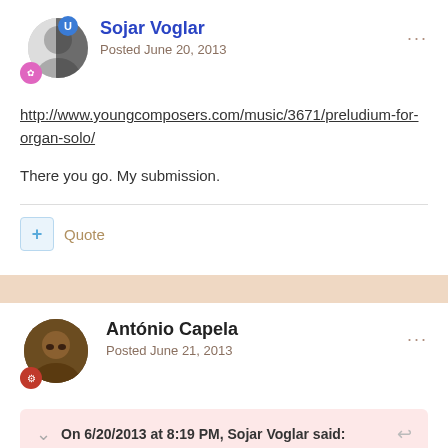[Figure (other): User avatar for Sojar Voglar with blue badge and pink badge]
Sojar Voglar
Posted June 20, 2013
http://www.youngcomposers.com/music/3671/preludium-for-organ-solo/
There you go. My submission.
+ Quote
[Figure (other): Separator band between posts]
[Figure (other): User avatar for António Capela with red badge]
António Capela
Posted June 21, 2013
On 6/20/2013 at 8:19 PM, Sojar Voglar said: